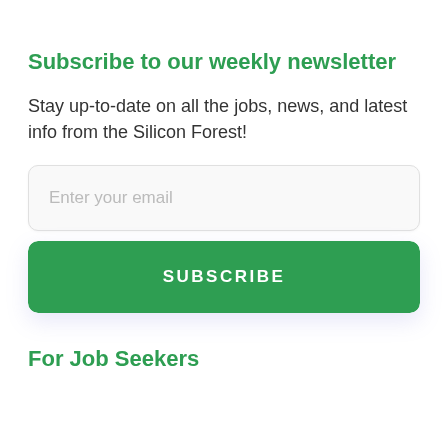Subscribe to our weekly newsletter
Stay up-to-date on all the jobs, news, and latest info from the Silicon Forest!
Enter your email
SUBSCRIBE
For Job Seekers